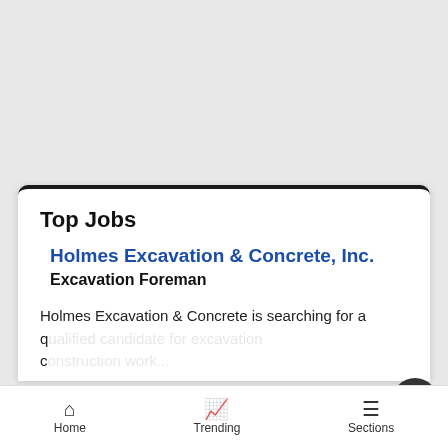Top Jobs
Holmes Excavation & Concrete, Inc.
Excavation Foreman
Holmes Excavation & Concrete is searching for a qualified candidate for excavation...
[Figure (screenshot): Bloomingdales advertisement banner: bloomingdales logo, 'View Today's Top Deals!' tagline, woman with hat image, SHOP NOW > button]
Home  Trending  Sections